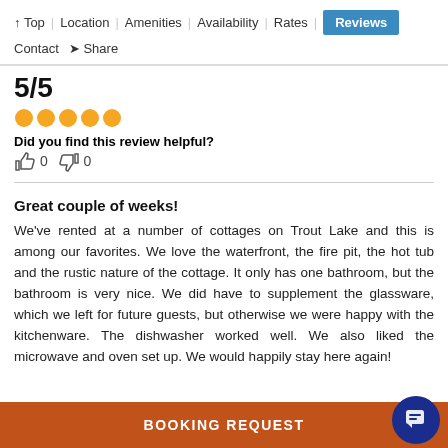↑ Top | Location | Amenities | Availability | Rates | Reviews | Contact | → Share
5/5
[Figure (other): Five gold filled circles representing a 5-star rating]
Did you find this review helpful?
👍 0  👎 0
Great couple of weeks!
We've rented at a number of cottages on Trout Lake and this is among our favorites. We love the waterfront, the fire pit, the hot tub and the rustic nature of the cottage. It only has one bathroom, but the bathroom is very nice. We did have to supplement the glassware, which we left for future guests, but otherwise we were happy with the kitchenware. The dishwasher worked well. We also liked the microwave and oven set up. We would happily stay here again!
BOOKING REQUEST